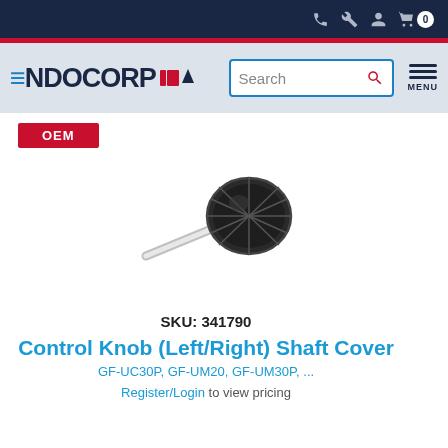ENDOCORP — navigation header with search and menu
[Figure (logo): ENDOCORP logo with flag icon]
OEM
[Figure (photo): Control Knob (Left/Right) Shaft Cover product photo — a small knurled dial with a metal shaft]
SKU: 341790
Control Knob (Left/Right) Shaft Cover
GF-UC30P, GF-UM20, GF-UM30P, ...
Register/Login to view pricing